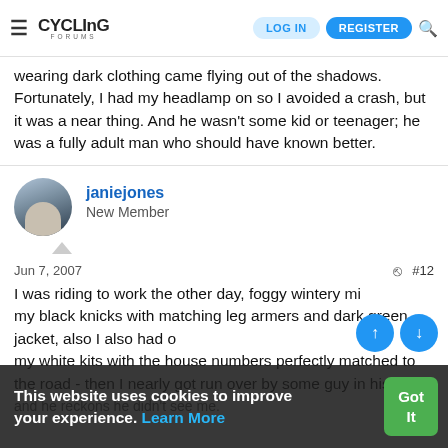Cycling Forums — LOG IN | REGISTER
wearing dark clothing came flying out of the shadows. Fortunately, I had my headlamp on so I avoided a crash, but it was a near thing. And he wasn't some kid or teenager; he was a fully adult man who should have known better.
janiejones
New Member
Jun 7, 2007  #12
I was riding to work the other day, foggy wintery morning, my black knicks with matching leg armers and dark green jacket also I also had my white kits with the house numbers perfectly matched to the road - then I nearly got run over by some guy in his 4wd and he reckons he didn't see me.
This website uses cookies to improve your experience. Learn More  Got It